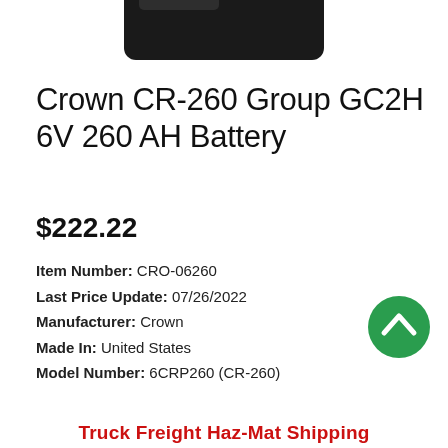[Figure (photo): Partial image of Crown CR-260 6V battery product, dark/black in color, cropped at top]
Crown CR-260 Group GC2H 6V 260 AH Battery
$222.22
Item Number: CRO-06260
Last Price Update: 07/26/2022
Manufacturer: Crown
Made In: United States
Model Number: 6CRP260 (CR-260)
[Figure (other): Green circular scroll-to-top button with upward chevron arrow icon]
Truck Freight Haz-Mat Shipping